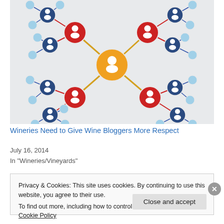[Figure (network-graph): A social network graph showing interconnected human figure icons. A central orange circle with a person icon connects via orange lines to several red circles with person icons, which in turn connect to dark blue circles with person icons, and those connect to small light blue circles with person icons.]
Wineries Need to Give Wine Bloggers More Respect
July 16, 2014
In "Wineries/Vineyards"
Privacy & Cookies: This site uses cookies. By continuing to use this website, you agree to their use.
To find out more, including how to control cookies, see here: Cookie Policy